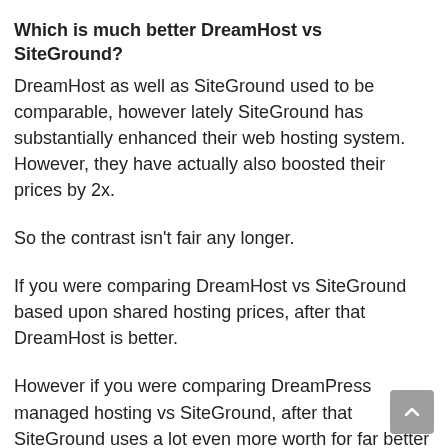Which is much better DreamHost vs SiteGround?
DreamHost as well as SiteGround used to be comparable, however lately SiteGround has substantially enhanced their web hosting system. However, they have actually also boosted their prices by 2x.
So the contrast isn't fair any longer.
If you were comparing DreamHost vs SiteGround based upon shared hosting prices, after that DreamHost is better.
However if you were comparing DreamPress managed hosting vs SiteGround, after that SiteGround uses a lot even more worth for far better pricing.